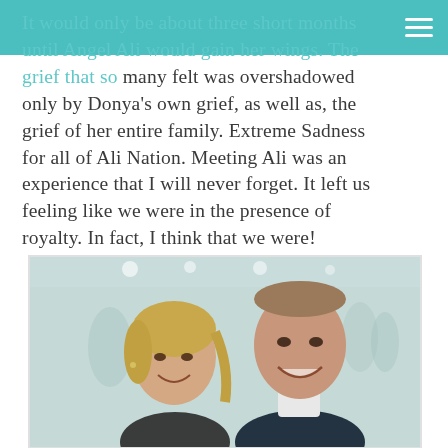It would only be about three short months until Angel Ali would gain her wings. The grief that so many felt was overshadowed only by Donya's own grief, as well as, the grief of her entire family. Extreme Sadness for all of Ali Nation. Meeting Ali was an experience that I will never forget. It left us feeling like we were in the presence of royalty. In fact, I think that we were!
[Figure (photo): A smiling young woman with blonde hair and a tall smiling man in a dark suit jacket, photographed together at what appears to be an indoor event with a light-colored background.]